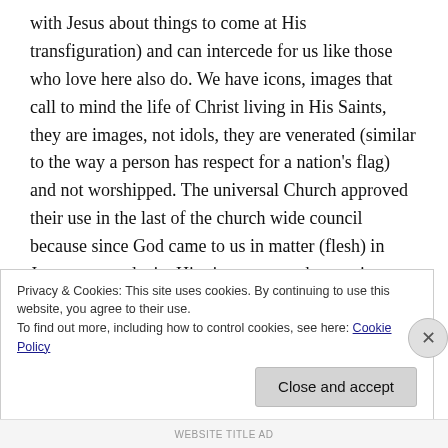with Jesus about things to come at His transfiguration) and can intercede for us like those who love here also do. We have icons, images that call to mind the life of Christ living in His Saints, they are images, not idols, they are venerated (similar to the way a person has respect for a nation's flag) and not worshipped. The universal Church approved their use in the last of the church wide council because since God came to us in matter (flesh) in Jesus we can depict Him in matter such as an icon. Please note, that the law about
Privacy & Cookies: This site uses cookies. By continuing to use this website, you agree to their use.
To find out more, including how to control cookies, see here: Cookie Policy
Close and accept